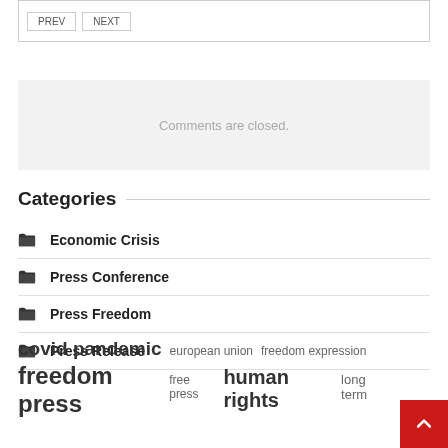[PREV] [NEXT] buttons (partial top box)
Comments are closed.
Categories
Economic Crisis
Press Conference
Press Freedom
Press Release
covid pandemic  european union  freedom expression  freedom press  free press  human rights  long term